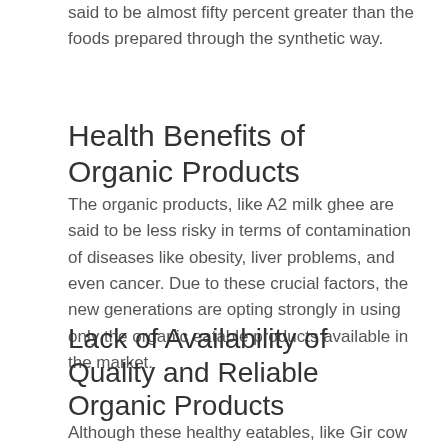said to be almost fifty percent greater than the foods prepared through the synthetic way.
Health Benefits of Organic Products
The organic products, like A2 milk ghee are said to be less risky in terms of contamination of diseases like obesity, liver problems, and even cancer. Due to these crucial factors, the new generations are opting strongly in using only the organic eatable products available in the market.
Lack of Availability of Quality and Reliable Organic Products
Although these healthy eatables, like Gir cow ghee, are now being sold at a whole lot of places, sometimes there arise some critical conditions when certain product